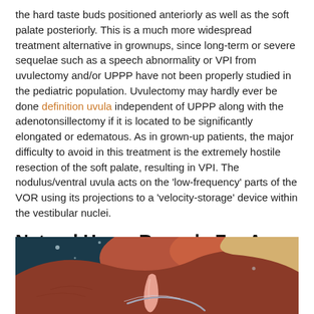the hard taste buds positioned anteriorly as well as the soft palate posteriorly. This is a much more widespread treatment alternative in grownups, since long-term or severe sequelae such as a speech abnormality or VPI from uvulectomy and/or UPPP have not been properly studied in the pediatric population. Uvulectomy may hardly ever be done definition uvula independent of UPPP along with the adenotonsillectomy if it is located to be significantly elongated or edematous. As in grown-up patients, the major difficulty to avoid in this treatment is the extremely hostile resection of the soft palate, resulting in VPI. The nodulus/ventral uvula acts on the 'low-frequency' parts of the VOR using its projections to a 'velocity-storage' device within the vestibular nuclei.
Natural Home Remedy For An Inflamed Uvula
[Figure (illustration): Medical illustration showing an anatomical cross-section view of the uvula and surrounding oral/throat tissue, with pink/salmon colored tissue and a teal/dark blue background.]